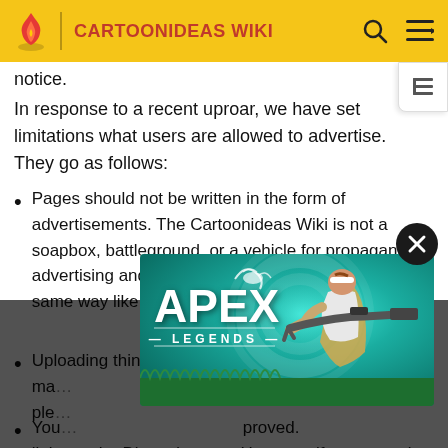CARTOONIDEAS WIKI
notice.
In response to a recent uproar, we have set limitations what users are allowed to advertise. They go as follows:
Pages should not be written in the form of advertisements. The Cartoonideas Wiki is not a soapbox, battleground, or a vehicle for propaganda, advertising and showcasing. Write the page in the same way like all the other pages on Wikipedia are.
Uploading things such as screenshots for ma... ugh ple...
You... proved. links on the Discord server. However, if you spam it or
[Figure (screenshot): Apex Legends advertisement overlay showing game logo and character with sniper rifle on teal background]